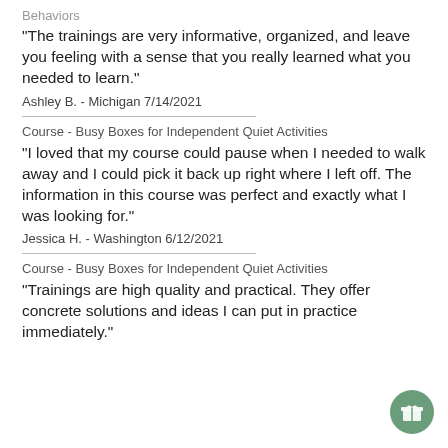Behaviors
"The trainings are very informative, organized, and leave you feeling with a sense that you really learned what you needed to learn."
Ashley B. - Michigan 7/14/2021
Course - Busy Boxes for Independent Quiet Activities
"I loved that my course could pause when I needed to walk away and I could pick it back up right where I left off. The information in this course was perfect and exactly what I was looking for."
Jessica H. - Washington 6/12/2021
Course - Busy Boxes for Independent Quiet Activities
"Trainings are high quality and practical. They offer concrete solutions and ideas I can put in practice immediately."